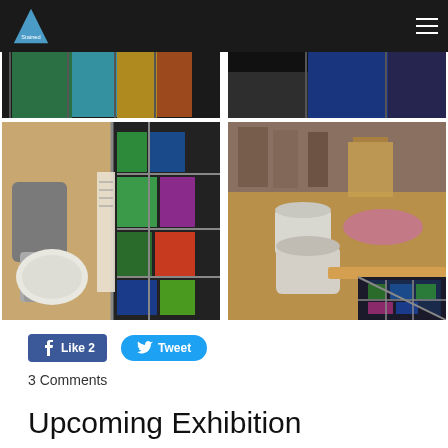Hannah Stained Glass - navigation header
[Figure (photo): Top-left partial photo of stained glass panels with green, teal, yellow colors]
[Figure (photo): Top-right partial photo of stained glass panel with blue tones]
[Figure (photo): Bottom-left photo of stained glass work in progress with soldering tools and colorful glass pieces]
[Figure (photo): Bottom-right photo of workshop table with cement/grout jars and a triangular stained glass piece with green and blue segments]
Like 2
Tweet
3 Comments
Upcoming Exhibition